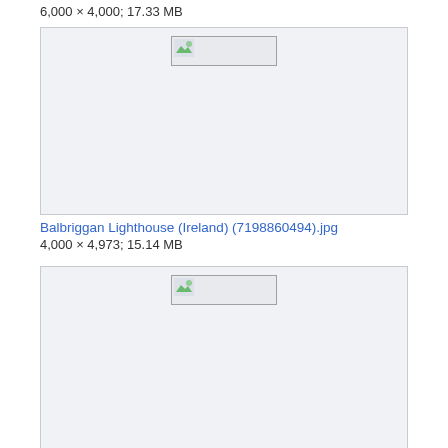6,000 × 4,000; 17.33 MB
[Figure (photo): Broken image placeholder for Balbriggan Lighthouse photo (7198860494)]
Balbriggan Lighthouse (Ireland) (7198860494).jpg
4,000 × 4,973; 15.14 MB
[Figure (photo): Broken image placeholder for Balbriggan Lighthouse photo (7199089860)]
Balbriggan Lighthouse (Ireland) (7199089860).jpg
4,000 × 6,000; 15.01 MB